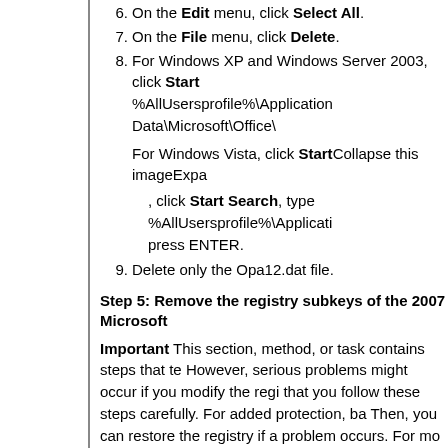6. On the Edit menu, click Select All.
7. On the File menu, click Delete.
8. For Windows XP and Windows Server 2003, click Start %AllUsersprofile%\Application Data\Microsoft\Office\
For Windows Vista, click StartCollapse this imageExpa
, click Start Search, type %AllUsersprofile%\Applicati press ENTER.
9. Delete only the Opa12.dat file.
Step 5: Remove the registry subkeys of the 2007 Microsoft
Important This section, method, or task contains steps that te However, serious problems might occur if you modify the regi that you follow these steps carefully. For added protection, ba Then, you can restore the registry if a problem occurs. For mo restore the registry, click the following article number to view Base: 322756 (How to back up and restore the registry in Wind registry in Windows
1. Locate and then delete the registry subkeys of the 2007 present. To do this, follow these steps:
1. For Windows XP and Windows Server 2003, click click OK.